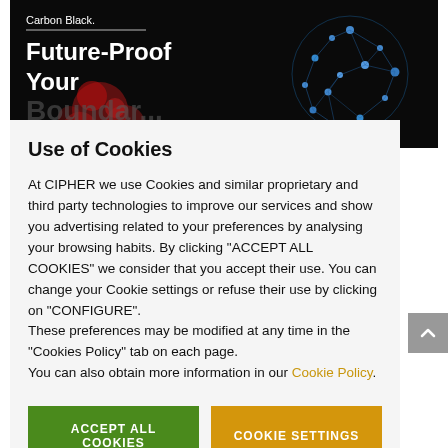[Figure (screenshot): Carbon Black banner with dark background, red particle scatter on left, blue network/globe graphic on right, white text reading 'Carbon Black.' and 'Future-Proof Your' in bold]
Use of Cookies
At CIPHER we use Cookies and similar proprietary and third party technologies to improve our services and show you advertising related to your preferences by analysing your browsing habits. By clicking "ACCEPT ALL COOKIES" we consider that you accept their use. You can change your Cookie settings or refuse their use by clicking on "CONFIGURE".
These preferences may be modified at any time in the "Cookies Policy" tab on each page.
You can also obtain more information in our Cookie Policy.